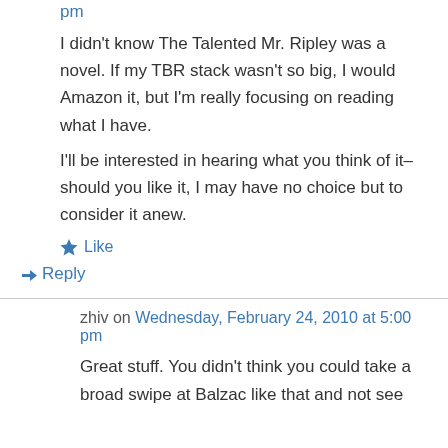pm
I didn't know The Talented Mr. Ripley was a novel. If my TBR stack wasn't so big, I would Amazon it, but I'm really focusing on reading what I have.
I'll be interested in hearing what you think of it–should you like it, I may have no choice but to consider it anew.
★ Like
↪ Reply
zhiv on Wednesday, February 24, 2010 at 5:00 pm
Great stuff. You didn't think you could take a broad swipe at Balzac like that and not see